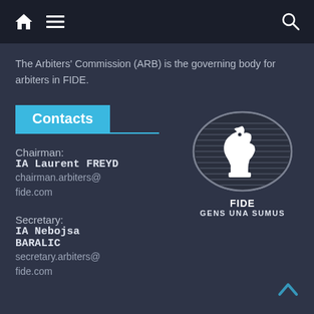Navigation bar with home, menu, and search icons
The Arbiters' Commission (ARB) is the governing body for arbiters in FIDE.
Contacts
Chairman:
IA Laurent FREYD
chairman.arbiters@fide.com
[Figure (logo): FIDE chess knight logo with text FIDE and GENS UNA SUMUS]
Secretary:
IA Nebojsa BARALIC
secretary.arbiters@fide.com